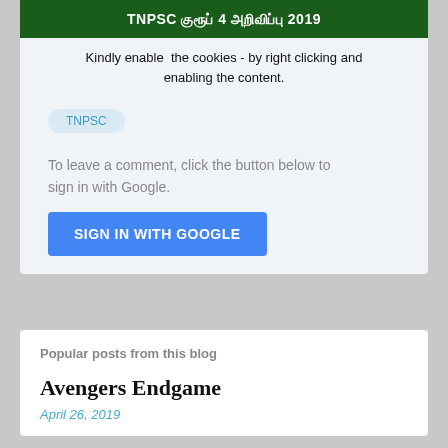[Figure (illustration): Dark green banner with white bold Tamil text reading: TNPSC குரூப் 4 அறிவிப்பு 2019]
Kindly enable  the cookies - by right clicking and enabling the content.
TNPSC
To leave a comment, click the button below to sign in with Google.
SIGN IN WITH GOOGLE
Popular posts from this blog
Avengers Endgame
April 26, 2019